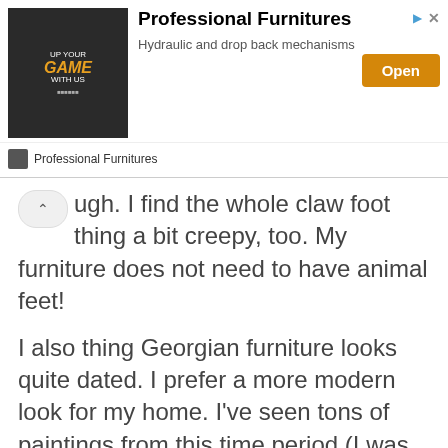[Figure (screenshot): Advertisement banner for 'Professional Furnitures' showing a gaming chair image with 'UP YOUR GAME WITH US' text, title 'Professional Furnitures', subtitle 'Hydraulic and drop back mechanisms', and an orange 'Open' button.]
ugh. I find the whole claw foot thing a bit creepy, too. My furniture does not need to have animal feet!
I also thing Georgian furniture looks quite dated. I prefer a more modern look for my home. I've seen tons of paintings from this time period (I was an art major in college) and a lot of the portraits feature Georgian furniture. The whole decorating style just looks oppressive to me, with all the dark colors.